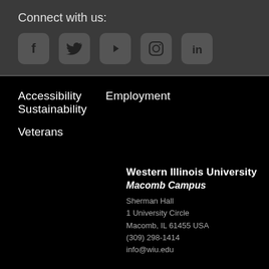Connect with us:
[Figure (infographic): Five social media icons: Facebook, Twitter, YouTube, Instagram, LinkedIn, displayed as white icons on rounded square grey backgrounds]
Accessibility
Employment
Sustainability
Veterans
Western Illinois University
Macomb Campus
Sherman Hall
1 University Circle
Macomb, IL 61455 USA
(309) 298-1414
info@wiu.edu